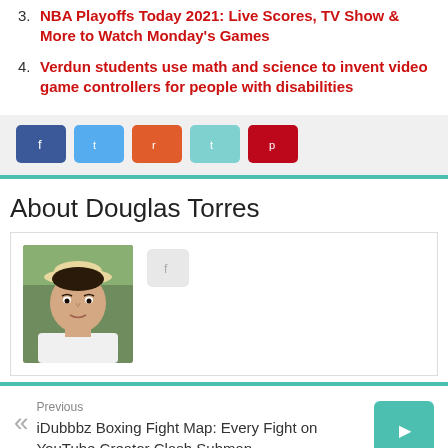3. NBA Playoffs Today 2021: Live Scores, TV Show & More to Watch Monday's Games
4. Verdun students use math and science to invent video game controllers for people with disabilities
[Figure (infographic): Social share buttons: Facebook (blue), Twitter (light blue), Reddit (orange), Telegram (teal), Pinterest (red)]
About Douglas Torres
[Figure (photo): Portrait photo of Douglas Torres, a young man wearing a white hat, against a green background]
[Figure (infographic): Social link button (small gray square with icon)]
Previous
iDubbbz Boxing Fight Map: Every Fight on YouTube Creator Clash Submap
[Figure (infographic): Next navigation button (teal square with right arrow icon)]